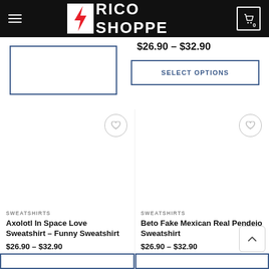Brico Shoppe
[Figure (screenshot): Partial product card with price $26.90 – $32.90 and SELECT OPTIONS button]
[Figure (screenshot): Product card: Axolotl In Space Love Sweatshirt – Funny Sweatshirt, SWEATSHIRTS category, $26.90 – $32.90]
[Figure (screenshot): Product card: Beto Fake Mexican Real Pendejo Sweatshirt, SWEATSHIRTS category, $26.90 – $32.90]